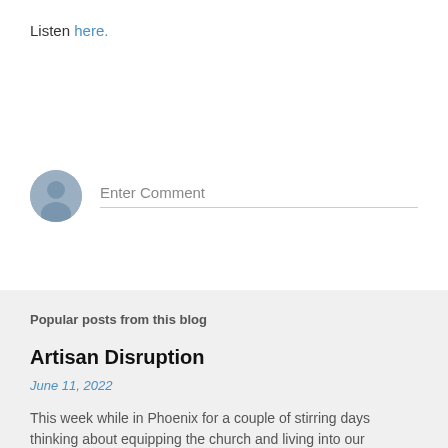Listen here.
[Figure (illustration): Default user avatar circle icon with silhouette]
Enter Comment
Popular posts from this blog
Artisan Disruption
June 11, 2022
This week while in Phoenix for a couple of stirring days thinking about equipping the church and living into our